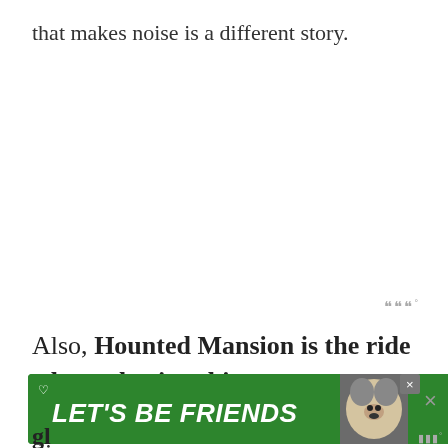that makes noise is a different story.
Also, Hounted Mansion is the ride where glowing things are most likely to be di... gl...
[Figure (screenshot): Advertisement banner with green background showing a husky dog image and text 'LET'S BE FRIENDS' in white italic bold font, with a heart icon and close buttons.]